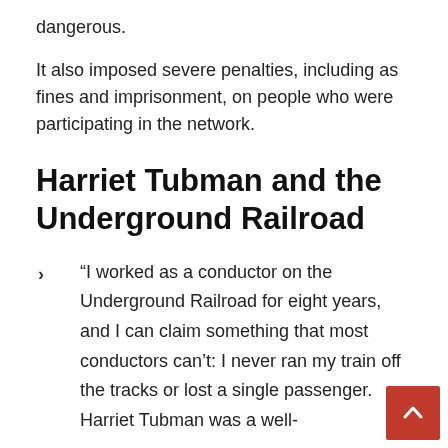dangerous.
It also imposed severe penalties, including as fines and imprisonment, on people who were participating in the network.
Harriet Tubman and the Underground Railroad
“I worked as a conductor on the Underground Railroad for eight years, and I can claim something that most conductors can’t: I never ran my train off the tracks or lost a single passenger. Harriet Tubman was a well-